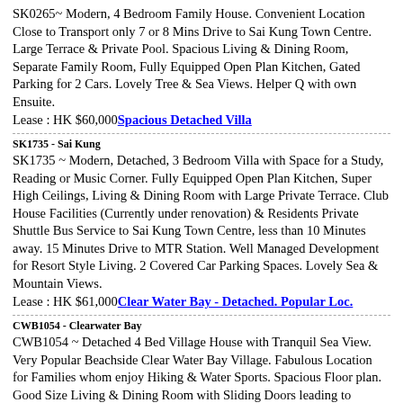SK0265~ Modern, 4 Bedroom Family House. Convenient Location Close to Transport only 7 or 8 Mins Drive to Sai Kung Town Centre. Large Terrace & Private Pool. Spacious Living & Dining Room, Separate Family Room, Fully Equipped Open Plan Kitchen, Gated Parking for 2 Cars. Lovely Tree & Sea Views. Helper Q with own Ensuite.
Lease : HK $60,000 Spacious Detached Villa
SK1735 - Sai Kung
SK1735 ~ Modern, Detached, 3 Bedroom Villa with Space for a Study, Reading or Music Corner. Fully Equipped Open Plan Kitchen, Super High Ceilings, Living & Dining Room with Large Private Terrace. Club House Facilities (Currently under renovation) & Residents Private Shuttle Bus Service to Sai Kung Town Centre, less than 10 Minutes away. 15 Minutes Drive to MTR Station. Well Managed Development for Resort Style Living. 2 Covered Car Parking Spaces. Lovely Sea & Mountain Views.
Lease : HK $61,000 Clear Water Bay - Detached. Popular Loc.
CWB1054 - Clearwater Bay
CWB1054 ~ Detached 4 Bed Village House with Tranquil Sea View. Very Popular Beachside Clear Water Bay Village. Fabulous Location for Families whom enjoy Hiking & Water Sports. Spacious Floor plan. Good Size Living & Dining Room with Sliding Doors leading to Terrace Garden.,Separate Family Room with Balcony, Open Plan Fully Fitted Kitchen, Master Bedroom, Large En-suite Bedrooms with Separate Shower &